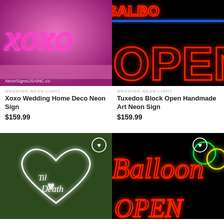[Figure (photo): Neon sign showing XOXO in pink/purple cursive on a pink background, with text '.NeonSignsUSAINC.co' at bottom]
WEDDING NEON LIGHT
Xoxo Wedding Home Deco Neon Sign
$159.99
[Figure (photo): Neon sign showing 'OPEN' in red cursive on black background, with partial text 'SALBO' at top in red, and a blue neon line]
WEDDING NEON LIGHT
Tuxedos Block Open Handmade Art Neon Sign
$159.99
[Figure (photo): Neon sign showing 'Til Death' in white cursive inside a heart shape, on a green grass/hedge background. Wishlist heart button visible top right.]
[Figure (photo): Neon sign showing 'Balloon OPEN' in red cursive on black background, with green and yellow neon circles. Wishlist heart button visible top right.]